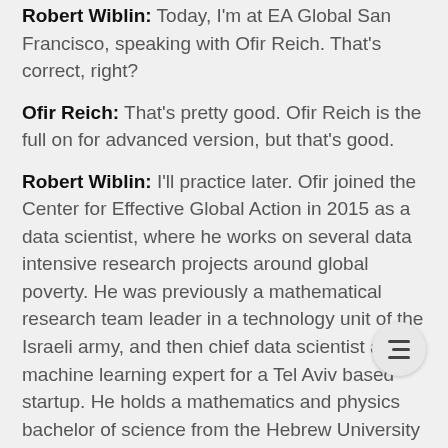Robert Wiblin: Today, I'm at EA Global San Francisco, speaking with Ofir Reich. That's correct, right?
Ofir Reich: That's pretty good. Ofir Reich is the full on for advanced version, but that's good.
Robert Wiblin: I'll practice later. Ofir joined the Center for Effective Global Action in 2015 as a data scientist, where he works on several data intensive research projects around global poverty. He was previously a mathematical research team leader in a technology unit of the Israeli army, and then chief data scientist and machine learning expert for a Tel Aviv based startup. He holds a mathematics and physics bachelor of science from the Hebrew University in Jerusalem and now has eight years of experience in groundbreaking applied mathematical research. Thanks for coming on the show, Ofir.
Ofir Reich: Thanks, Robert. It's great to be here. I'm happy to take part.